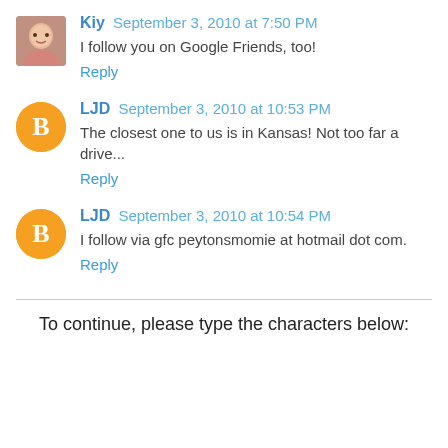Kiy September 3, 2010 at 7:50 PM
I follow you on Google Friends, too!
Reply
LJD September 3, 2010 at 10:53 PM
The closest one to us is in Kansas! Not too far a drive...
Reply
LJD September 3, 2010 at 10:54 PM
I follow via gfc peytonsmomie at hotmail dot com.
Reply
To continue, please type the characters below: